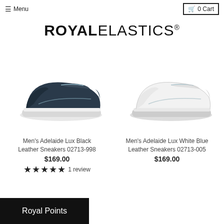≡ Menu   🛒 0 Cart
ROYAL ELASTICS®
[Figure (photo): Dark navy Men's Adelaide Lux Black Leather Sneaker, low-top slip-on style with elastic strap, white sole]
Men's Adelaide Lux Black Leather Sneakers 02713-998
$169.00
★★★★★ 1 review
[Figure (photo): White Men's Adelaide Lux White Blue Leather Sneaker, low-top slip-on style with elastic strap, white sole]
Men's Adelaide Lux White Blue Leather Sneakers 02713-005
$169.00
Royal Points